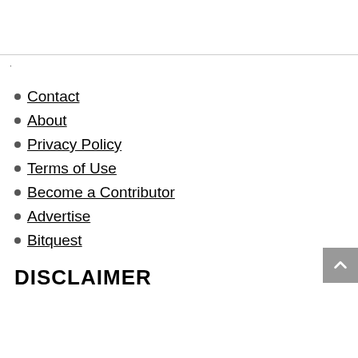Contact
About
Privacy Policy
Terms of Use
Become a Contributor
Advertise
Bitquest
DISCLAIMER